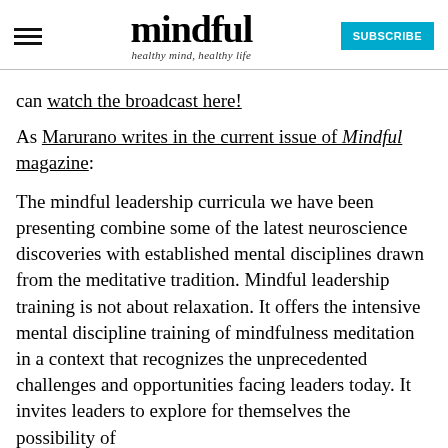mindful — healthy mind, healthy life
can watch the broadcast here!
As Marurano writes in the current issue of Mindful magazine:
The mindful leadership curricula we have been presenting combine some of the latest neuroscience discoveries with established mental disciplines drawn from the meditative tradition. Mindful leadership training is not about relaxation. It offers the intensive mental discipline training of mindfulness meditation in a context that recognizes the unprecedented challenges and opportunities facing leaders today. It invites leaders to explore for themselves the possibility of